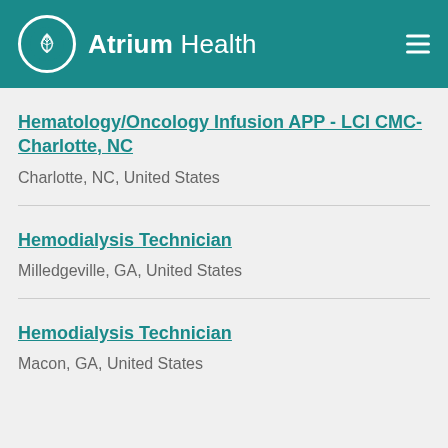Atrium Health
Hematology/Oncology Infusion APP - LCI CMC- Charlotte, NC
Charlotte, NC, United States
Hemodialysis Technician
Milledgeville, GA, United States
Hemodialysis Technician
Macon, GA, United States